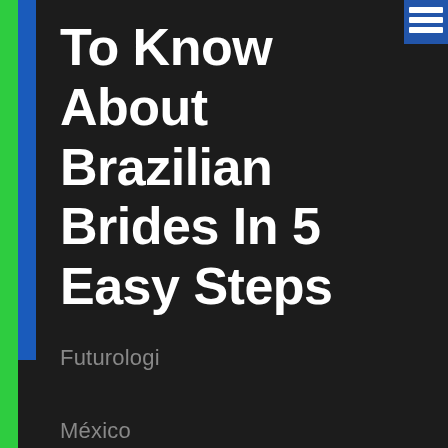To Know About Brazilian Brides In 5 Easy Steps
Futurologi
México